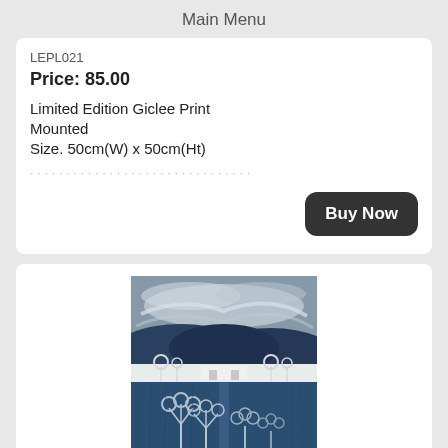Main Menu
LEPL021
Price: 85.00
Limited Edition Giclee Print
Mounted
Size. 50cm(W) x 50cm(Ht)
Buy Now
[Figure (illustration): Painting of Magical Breaks 2, Snowdonia - a landscape with dark blue hills, stormy sky with swirling clouds, white house on a flat ledge, white stylized trees, and blue foreground vegetation]
Magical Breaks 2, Snowdonia
LEPL022
Price: 127.00